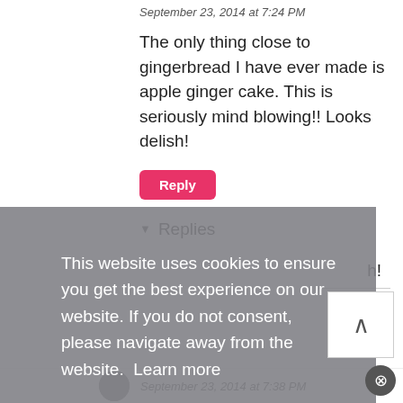September 23, 2014 at 7:24 PM
The only thing close to gingerbread I have ever made is apple ginger cake. This is seriously mind blowing!! Looks delish!
Reply
▾ Replies
This website uses cookies to ensure you get the best experience on our website. If you do not consent, please navigate away from the website. Learn more
I get it & consent to cookies
September 23, 2014 at 7:38 PM